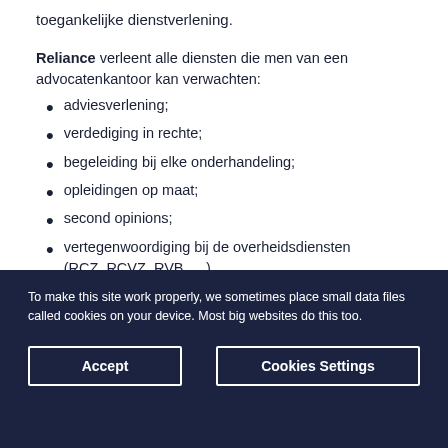toegankelijke dienstverlening.
Reliance verleent alle diensten die men van een advocatenkantoor kan verwachten:
adviesverlening;
verdediging in rechte;
begeleiding bij elke onderhandeling;
opleidingen op maat;
second opinions;
vertegenwoordiging bij de overheidsdiensten (RCZ, RCVZ, RVB, …);
To make this site work properly, we sometimes place small data files called cookies on your device. Most big websites do this too.
Accept
Cookies Settings